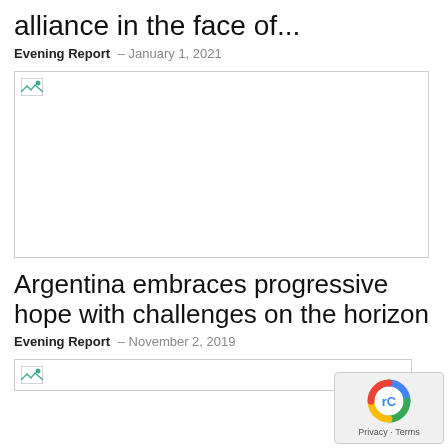alliance in the face of...
Evening Report - January 1, 2021
[Figure (photo): Broken/unloaded image placeholder for first article]
Argentina embraces progressive hope with challenges on the horizon
Evening Report - November 2, 2019
[Figure (photo): Broken/unloaded image placeholder for second article]